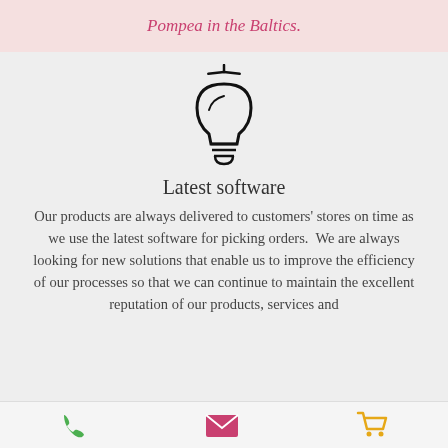Pompea in the Baltics.
[Figure (illustration): Light bulb icon (line art, black outline) with rays indicating illumination]
Latest software
Our products are always delivered to customers' stores on time as we use the latest software for picking orders.  We are always looking for new solutions that enable us to improve the efficiency of our processes so that we can continue to maintain the excellent reputation of our products, services and
phone icon | email icon | cart icon